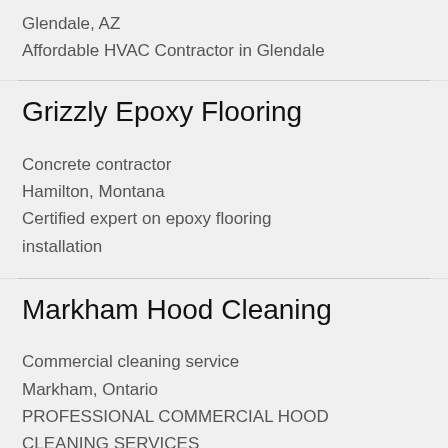Glendale, AZ
Affordable HVAC Contractor in Glendale
Grizzly Epoxy Flooring
Concrete contractor
Hamilton, Montana
Certified expert on epoxy flooring installation
Markham Hood Cleaning
Commercial cleaning service
Markham, Ontario
PROFESSIONAL COMMERCIAL HOOD CLEANING SERVICES